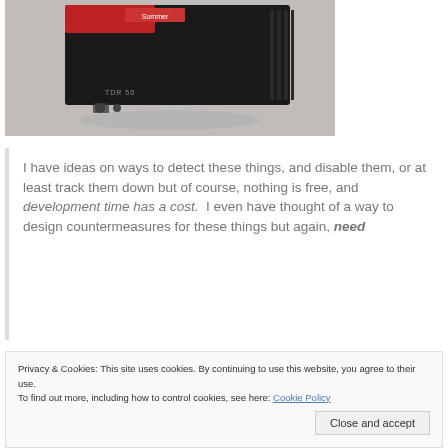[Figure (photo): A black electronic device labeled TDR 50 with connectors visible, photographed against a light gray background.]
I have ideas on ways to detect these things, and disable them, or at least track them down but of course, nothing is free, and development time has a cost. I even have thought of a way to design countermeasures for these things but again, need
Privacy & Cookies: This site uses cookies. By continuing to use this website, you agree to their use. To find out more, including how to control cookies, see here: Cookie Policy
Close and accept